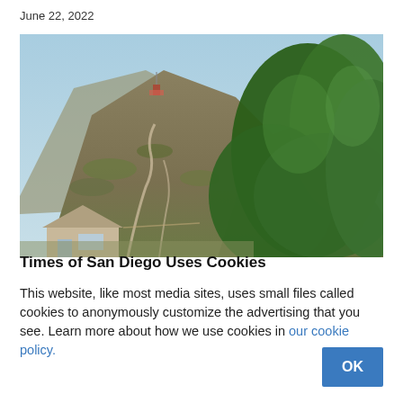June 22, 2022
[Figure (photo): Landscape photo showing a hillside with winding road, scrub brush vegetation, a small structure near the hilltop, green trees in the foreground right, and a house roof visible at the bottom left. Clear blue sky visible at the top.]
Times of San Diego Uses Cookies
This website, like most media sites, uses small files called cookies to anonymously customize the advertising that you see. Learn more about how we use cookies in our cookie policy.